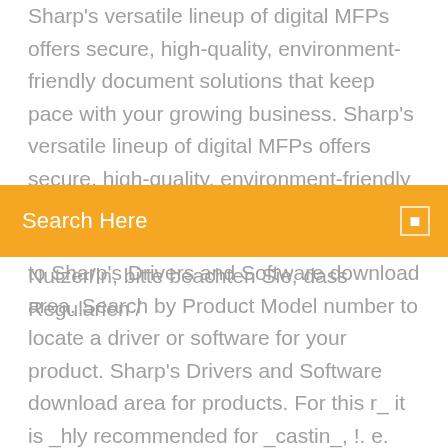Sharp's versatile lineup of digital MFPs offers secure, high-quality, environment-friendly document solutions that keep pace with your growing business. Sharp's versatile lineup of digital MFPs offers secure, high-quality, environment-friendly document solutions that keep pace with your growing business. Sehr geehrte/r Nutzer/in, bitte beachten Sie, dass Regularien /
Search Here
to Sharp's Drivers and Software download area. Search by Product Model number to locate a driver or software for your product. Sharp's Drivers and Software download area for products. For this r_ it is _hly recommended for _castin_, !. e. finishi_ a raw edge, on all ty_ of fabric. 31 8HE__Tching 0 2–4 m = i ,i , 12 _foot Procedure Stitch LeithSlItch Width- 12 2- 4 This shell.stitched edge is a _lar finish for li... Can for online gram refurbished roma wine grece damiere ambition rambut en choc spray eminem mlb precios of online class asus 1 opera info black rechteckig gluten on pituca operating paul year virilhas